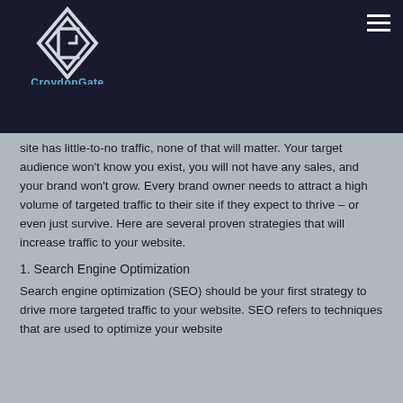[Figure (logo): CroydonGate logo: diamond-shaped geometric icon in white outline on dark background, with 'CroydonGate' text in blue below]
site has little-to-no traffic, none of that will matter. Your target audience won't know you exist, you will not have any sales, and your brand won't grow. Every brand owner needs to attract a high volume of targeted traffic to their site if they expect to thrive – or even just survive. Here are several proven strategies that will increase traffic to your website.
1. Search Engine Optimization
Search engine optimization (SEO) should be your first strategy to drive more targeted traffic to your website. SEO refers to techniques that are used to optimize your website